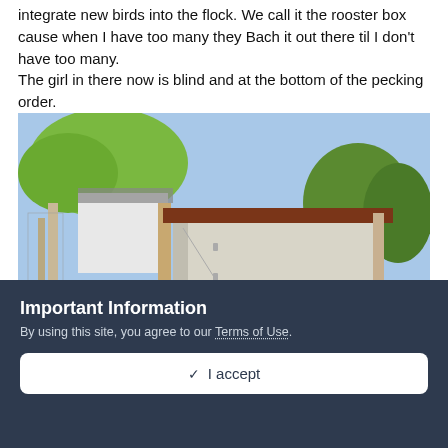integrate new birds into the flock. We call it the rooster box cause when I have too many they Bach it out there til I don't have too many.
The girl in there now is blind and at the bottom of the pecking order.
[Figure (photo): Outdoor photo of a small white chicken coop or hutch in a yard, with wooden fence posts, a white building in the background, and green leafy trees. The coop has a dark (brown/maroon) roof and an opening near the base.]
Important Information
By using this site, you agree to our Terms of Use.
✓  I accept